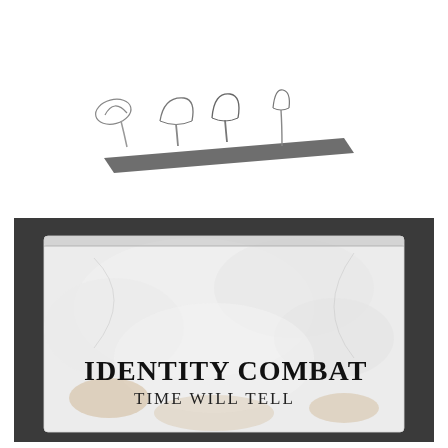[Figure (illustration): Black and white illustration of small mushrooms/fungi arranged in a row from left to right, appearing to grow in size, displayed on a diagonal dark line or surface. Grayscale pencil or photographic style.]
[Figure (photo): Photograph of a CD or album in a clear plastic sleeve placed on a dark gray/charcoal background. The album cover shows a cloudy or misty white texture with the text 'IDENTITY COMBAT' in large bold serif font and 'TIME WILL TELL' in smaller serif font below it.]